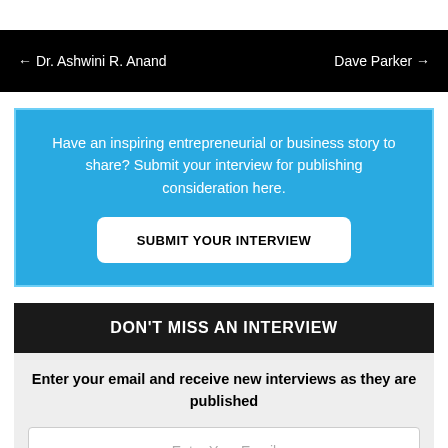← Dr. Ashwini R. Anand    Dave Parker →
Have an inspiring entrepreneurial or business story to share? Submit your interview for publishing consideration here.
SUBMIT YOUR INTERVIEW
DON'T MISS AN INTERVIEW
Enter your email and receive new interviews as they are published
Enter Your Email